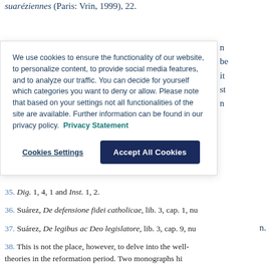suaréziennes (Paris: Vrin, 1999), 22.
We use cookies to ensure the functionality of our website, to personalize content, to provide social media features, and to analyze our traffic. You can decide for yourself which categories you want to deny or allow. Please note that based on your settings not all functionalities of the site are available. Further information can be found in our privacy policy. Privacy Statement
Cookies Settings | Accept All Cookies
35. Dig. 1, 4, 1 and Inst. 1, 2.
36. Suárez, De defensione fidei catholicae, lib. 3, cap. 1, nu
37. Suárez, De legibus ac Deo legislatore, lib. 3, cap. 9, nu
38. This is not the place, however, to delve into the well-theories in the reformation period. Two monographs hi